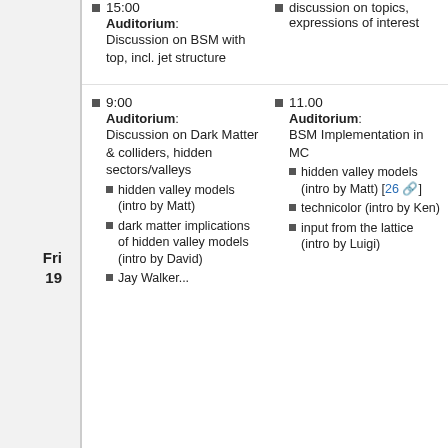15:00 Auditorium: Discussion on BSM with top, incl. jet structure
discussion on topics, expressions of interest
Fri 19
9:00 Auditorium: Discussion on Dark Matter & colliders, hidden sectors/valleys
hidden valley models (intro by Matt)
dark matter implications of hidden valley models (intro by David)
Jay Walker...
11.00 Auditorium: BSM Implementation in MC
hidden valley models (intro by Matt) [26]
technicolor (intro by Ken)
input from the lattice (intro by Luigi)